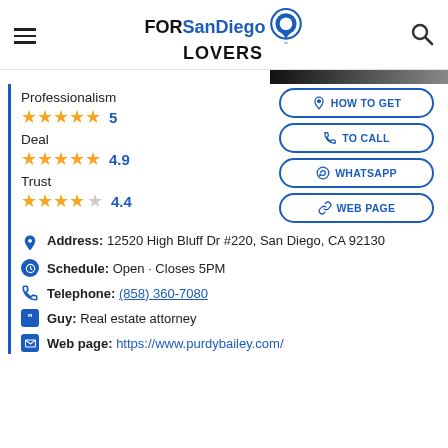FORSanDiego LOVERS
Professionalism ★★★★★ 5
Deal ★★★★★ 4.9
Trust ★★★★☆ 4.4
HOW TO GET
TO CALL
WHATSAPP
WEB PAGE
Address: 12520 High Bluff Dr #220, San Diego, CA 92130
Schedule: Open · Closes 5PM
Telephone: (858) 360-7080
Guy: Real estate attorney
Web page: https://www.purdybailey.com/